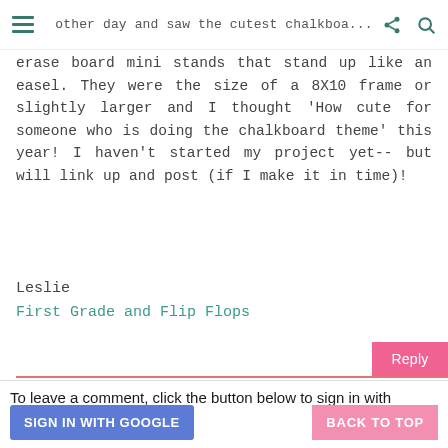other day and saw the cutest chalkboard...
erase board mini stands that stand up like an easel. They were the size of a 8X10 frame or slightly larger and I thought 'How cute for someone who is doing the chalkboard theme' this year! I haven't started my project yet-- but will link up and post (if I make it in time)!
Leslie
First Grade and Flip Flops
To leave a comment, click the button below to sign in with Google.